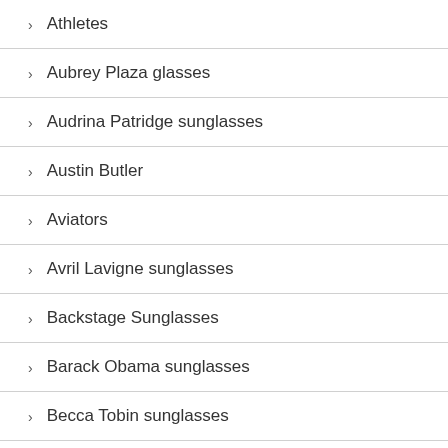Athletes
Aubrey Plaza glasses
Audrina Patridge sunglasses
Austin Butler
Aviators
Avril Lavigne sunglasses
Backstage Sunglasses
Barack Obama sunglasses
Becca Tobin sunglasses
Ben Affleck sunglasses